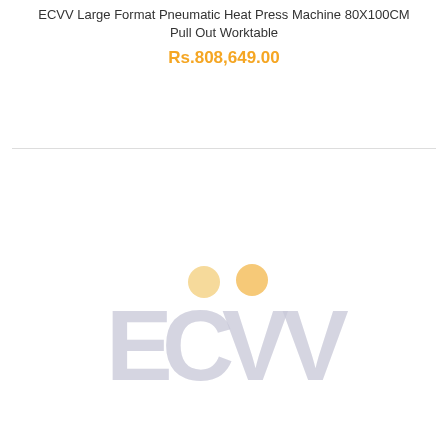ECVV Large Format Pneumatic Heat Press Machine 80X100CM Pull Out Worktable
Rs.808,649.00
[Figure (logo): ECVV logo — large light gray letters spelling ECVV with two small orange/yellow circles above the two V letters]